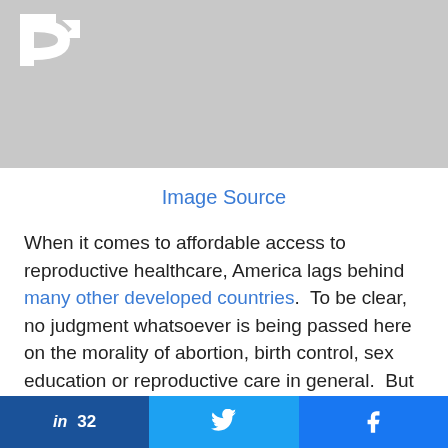[Figure (photo): Partial logo image on gray background — white stylized 'P' letter visible in upper left corner]
Image Source
When it comes to affordable access to reproductive healthcare, America lags behind many other developed countries.  To be clear, no judgment whatsoever is being passed here on the morality of abortion, birth control, sex education or reproductive care in general.  But if we're going to talk about what
[Figure (screenshot): Social share bar with LinkedIn (32 shares), Twitter, and Facebook buttons]